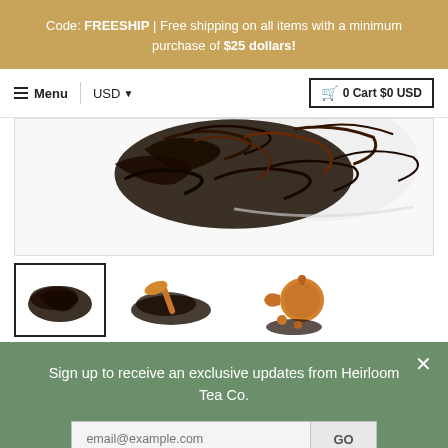Code: FREESHIP | Free shipping on all items with a minimum purchase of $25 dollars!
Menu | USD | 0 Cart $0 USD
[Figure (photo): Close-up photo of loose dark tea leaves in a white ceramic bowl on a white background]
[Figure (photo): Three thumbnail images: (1) pile of loose dark tea leaves, (2) tea leaves with a wooden scoop, (3) wooden teapot with tea leaves]
Sign up to receive an exclusive updates from Heirloom Tea Co.
email@example.com
GO